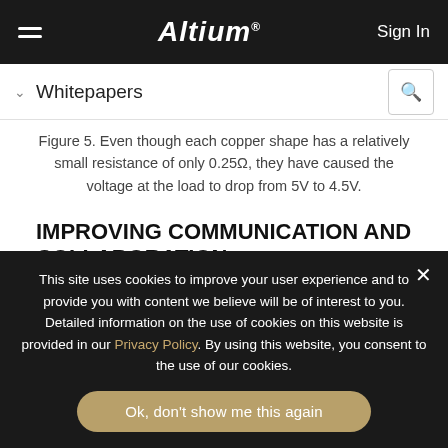Altium | Sign In
Whitepapers
Figure 5. Even though each copper shape has a relatively small resistance of only 0.25Ω, they have caused the voltage at the load to drop from 5V to 4.5V.
IMPROVING COMMUNICATION AND COLLABORATION
This site uses cookies to improve your user experience and to provide you with content we believe will be of interest to you. Detailed information on the use of cookies on this website is provided in our Privacy Policy. By using this website, you consent to the use of our cookies.
Ok, don't show me this again